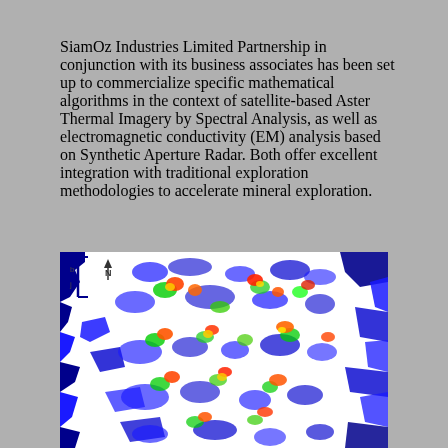SiamOz Industries Limited Partnership in conjunction with its business associates has been set up to commercialize specific mathematical algorithms in the context of satellite-based Aster Thermal Imagery by Spectral Analysis, as well as electromagnetic conductivity (EM) analysis based on Synthetic Aperture Radar. Both offer excellent integration with traditional exploration methodologies to accelerate mineral exploration.
[Figure (map): False-color satellite thermal or electromagnetic conductivity map showing mineral exploration data. The image uses a heat-map color scale (blue, green, yellow, orange, red) overlaid on a white background with dark blue boundary lines, with a north arrow indicator in the upper-left area.]